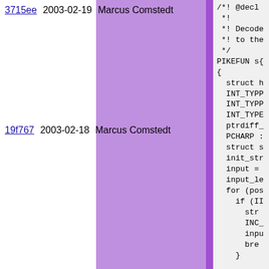3715ee 2003-02-19 Marcus Comstedt
19f767 2003-02-18 Marcus Comstedt
/*! @decl
 *!
 *! Decode
 *! to the
 */
PIKEFUN s{
{
  struct h
  INT_TYPP
  INT_TYPP
  INT_TYPE
  ptrdiff_
  PCHARP :
  struct s
  init_str
  input =
  input_le
  for (pos
    if (II
      str
      INC_
      inpu
      bre
    }

  while (:
    INT_TY
    INT_TY
    INT_TY